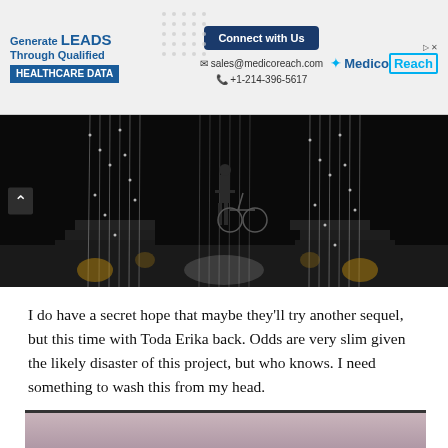[Figure (other): MedicoReach advertisement banner: Generate LEADS Through Qualified HEALTHCARE DATA. Connect with Us button. sales@medicoreach.com and +1-214-396-5617 contact info. MedicoReach logo.]
[Figure (photo): Dark stage scene with a person in a suit standing among hanging crystal/bead curtains and dramatic lighting, with what appears to be a bicycle or chair in the center.]
I do have a secret hope that maybe they'll try another sequel, but this time with Toda Erika back. Odds are very slim given the likely disaster of this project, but who knows. I need something to wash this from my head.
[Figure (photo): Partially visible image at the bottom of the page with muted pinkish-gray tones, cut off.]